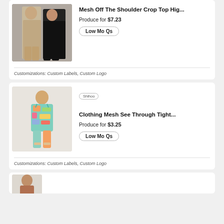[Figure (photo): Two women modeling a black mesh off-the-shoulder crop top and high-waist outfit]
Mesh Off The Shoulder Crop Top Hig...
Produce for $7.23
Low Mo Qs
Customizations: Custom Labels, Custom Logo
[Figure (photo): Woman modeling a colorful tie-dye mesh see-through tight outfit]
Clothing Mesh See Through Tight...
Produce for $3.25
Low Mo Qs
Customizations: Custom Labels, Custom Logo
[Figure (photo): Partial view of a third product listing showing a woman model]